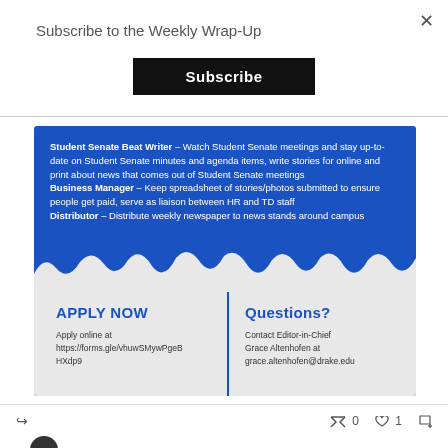Subscribe to the Weekly Wrap-Up
Subscribe
[Figure (infographic): Blue recruitment card for student newspaper positions. Contains job descriptions for Student Senate Beat Writer, Business Manager, and Distributor. Lower section on torn paper background has two columns: Apply Now with URL https://forms.gle/vhuwSMywPgeBHXdp9, and Questions? with contact info for Grace Altenhofen at grace.altenhofen@drake.edu]
0
1